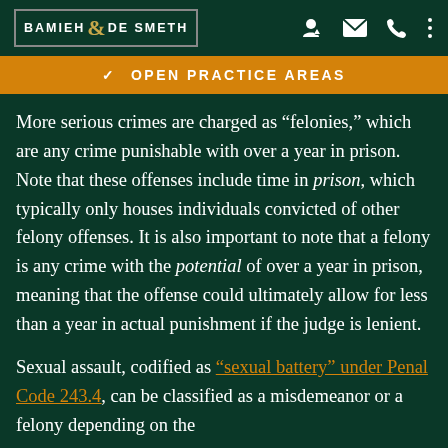BAMIEH & DE SMETH
OPEN PRACTICE AREAS
More serious crimes are charged as “felonies,” which are any crime punishable with over a year in prison. Note that these offenses include time in prison, which typically only houses individuals convicted of other felony offenses. It is also important to note that a felony is any crime with the potential of over a year in prison, meaning that the offense could ultimately allow for less than a year in actual punishment if the judge is lenient.
Sexual assault, codified as “sexual battery” under Penal Code 243.4, can be classified as a misdemeanor or a felony depending on the